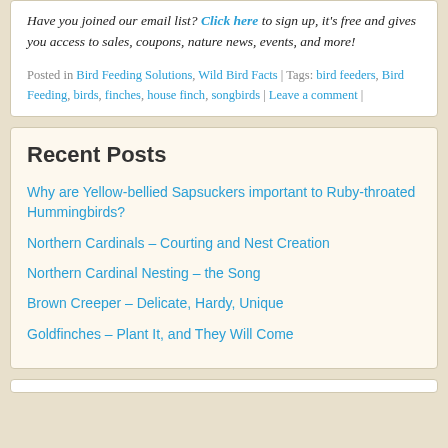Have you joined our email list? Click here to sign up, it's free and gives you access to sales, coupons, nature news, events, and more!
Posted in Bird Feeding Solutions, Wild Bird Facts | Tags: bird feeders, Bird Feeding, birds, finches, house finch, songbirds | Leave a comment |
Recent Posts
Why are Yellow-bellied Sapsuckers important to Ruby-throated Hummingbirds?
Northern Cardinals – Courting and Nest Creation
Northern Cardinal Nesting – the Song
Brown Creeper – Delicate, Hardy, Unique
Goldfinches – Plant It, and They Will Come